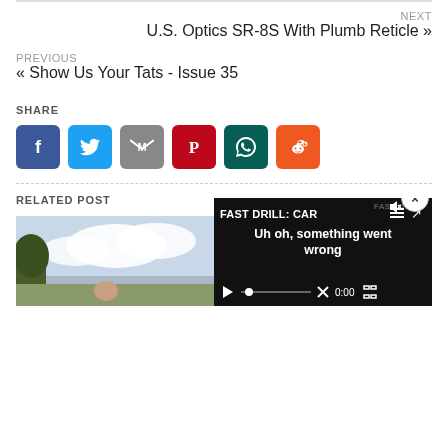NEXT
U.S. Optics SR-8S With Plumb Reticle »
PREVIOUS
« Show Us Your Tats - Issue 35
SHARE
[Figure (infographic): Row of 6 social share icon buttons: Facebook (blue), Twitter (light blue), Gmail (grey), Pinterest (dark red), WhatsApp (dark green), Reddit (orange)]
RELATED POST
[Figure (screenshot): Partial thumbnail of a nature/outdoor photo on the left, and a video player overlay on the right showing 'FAST DRILL: CAR' title with error message 'Uh oh, something went wrong' and a close (x) button at top right.]